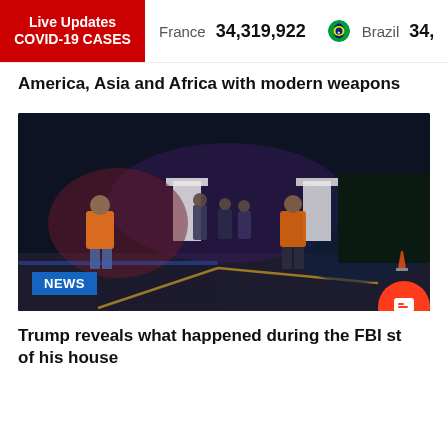Live Updates COVID-19 CASES  France 34,319,922  Brazil 34,
America, Asia and Africa with modern weapons
[Figure (photo): Night scene at a roadway with two people in orange safety vests standing in a road, and several other figures in the background. NEWS badge visible in lower left.]
Trump reveals what happened during the FBI st of his house